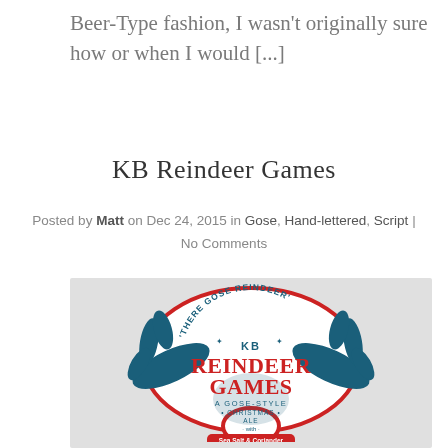Beer-Type fashion, I wasn't originally sure how or when I would [...]
KB Reindeer Games
Posted by Matt on Dec 24, 2015 in Gose, Hand-lettered, Script | No Comments
[Figure (illustration): Beer label illustration for KB Reindeer Games, a Gose-Style Christmas Ale with Sea Salt & Coriander. Features reindeer antlers, text 'THERE GOSE REINDEER', 'KB REINDEER GAMES', 'A GOSE-STYLE CHRISTMAS ALE with Sea Salt & Coriander'. Red and teal/dark blue colors on white background with red border.]